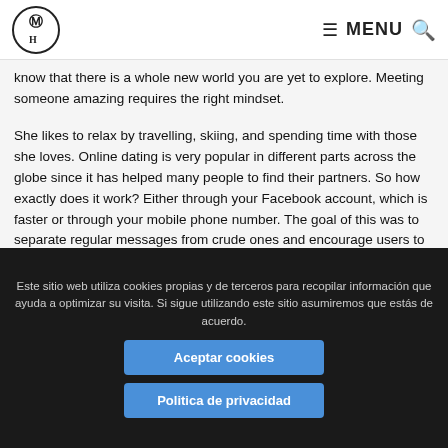M H | MENU
know that there is a whole new world you are yet to explore. Meeting someone amazing requires the right mindset.
She likes to relax by travelling, skiing, and spending time with those she loves. Online dating is very popular in different parts across the globe since it has helped many people to find their partners. So how exactly does it work? Either through your Facebook account, which is faster or through your mobile phone number. The goal of this was to separate regular messages from crude ones and encourage users to spend more time getting to know different users. Cougar App Reviews.
Este sitio web utiliza cookies propias y de terceros para recopilar información que ayuda a optimizar su visita. Si sigue utilizando este sitio asumiremos que estás de acuerdo.
Aceptar cookies
Politica de privacidad